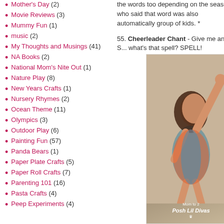Mother's Day (2)
Movie Reviews (3)
Mummy Fun (1)
music (2)
My Thoughts and Musings (41)
NA Books (2)
National Mom's Nite Out (1)
Nature Play (8)
New Years Crafts (1)
Nursery Rhymes (2)
Ocean Theme (11)
Olympics (3)
Outdoor Play (6)
Painting Fun (57)
Panda Bears (1)
Paper Plate Crafts (5)
Paper Roll Crafts (7)
Parenting 101 (16)
Pasta Crafts (4)
Peep Experiments (4)
the words too depending on the season who said that word was also automatically group of kids. *
55. Cheerleader Chant - Give me an S... what's that spell? SPELL!
[Figure (photo): A child with arm raised up in a cheerleader pose against a tan background, with a Posh Lil Divas watermark at the bottom]